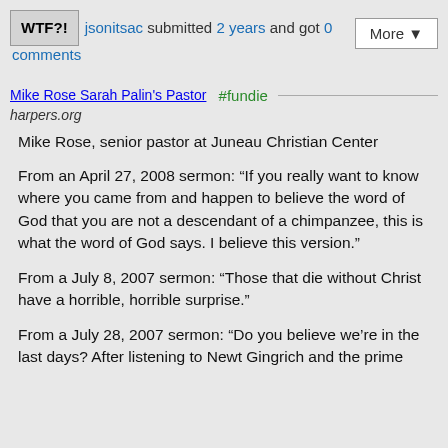WTF?! jsonitsac submitted 2 years and got 0 comments | More ▼
Mike Rose Sarah Palin's Pastor #fundie
harpers.org
Mike Rose, senior pastor at Juneau Christian Center
From an April 27, 2008 sermon: “If you really want to know where you came from and happen to believe the word of God that you are not a descendant of a chimpanzee, this is what the word of God says. I believe this version.”
From a July 8, 2007 sermon: “Those that die without Christ have a horrible, horrible surprise.”
From a July 28, 2007 sermon: “Do you believe we’re in the last days? After listening to Newt Gingrich and the prime